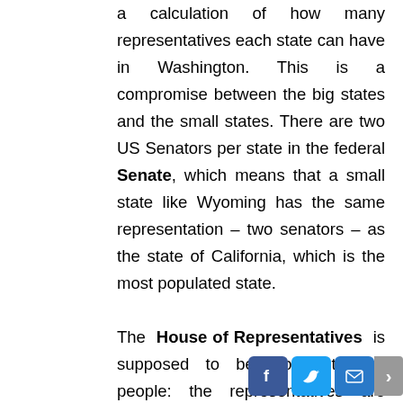a calculation of how many representatives each state can have in Washington. This is a compromise between the big states and the small states. There are two US Senators per state in the federal Senate, which means that a small state like Wyoming has the same representation – two senators – as the state of California, which is the most populated state.

The House of Representatives is supposed to be closer to the people: the representatives are elected directly every two years, which means that are close to the concerns of the people. The House is